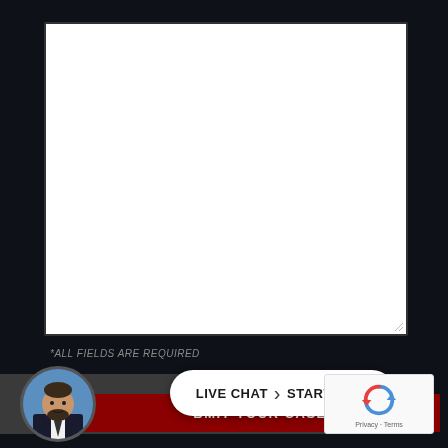[Figure (screenshot): Dark-themed legal website UI showing a text area form field (white rectangle), an 'ALL FIELDS ARE REQUIRED' notice, a circular avatar photo of a bearded man in a suit, a white pill-shaped 'LIVE CHAT > START NOW' button, a dark red 'BMIT YOUR CASE' submit bar, and a reCAPTCHA widget with Privacy and Terms links in the bottom right.]